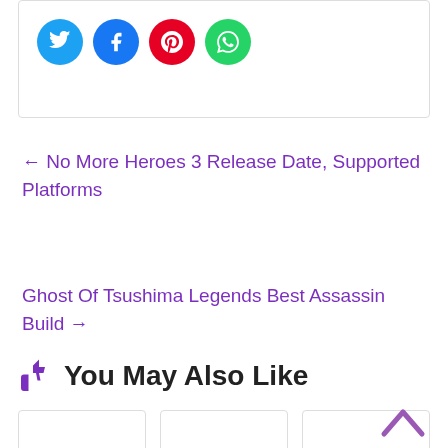[Figure (other): Social sharing icons: Twitter (blue circle), Facebook (blue circle), Pinterest (red circle), WhatsApp (green circle)]
← No More Heroes 3 Release Date, Supported Platforms
Ghost Of Tsushima Legends Best Assassin Build →
👍 You May Also Like
[Figure (other): Three card thumbnails in a row at the bottom of the page]